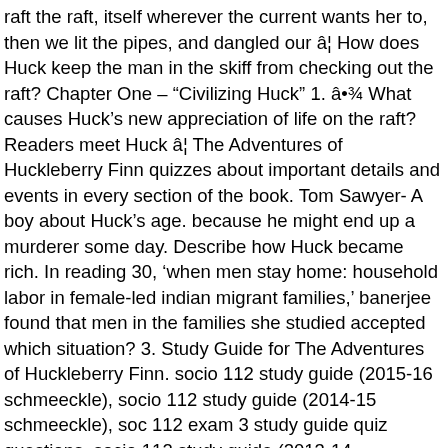raft the raft, itself wherever the current wants her to, then we lit the pipes, and dangled our â¦ How does Huck keep the man in the skiff from checking out the raft? Chapter One – "Civilizing Huck" 1. â•¾ What causes Huck's new appreciation of life on the raft? Readers meet Huck â¦ The Adventures of Huckleberry Finn quizzes about important details and events in every section of the book. Tom Sawyer- A boy about Huck's age. because he might end up a murderer some day. Describe how Huck became rich. In reading 30, 'when men stay home: household labor in female-led indian migrant families,' banerjee found that men in the families she studied accepted which situation? 3. Study Guide for The Adventures of Huckleberry Finn. socio 112 study guide (2015-16 schmeeckle), socio 112 study guide (2014-15 schmeeckle), soc 112 exam 3 study guide quiz questions, socio 112 study guide (2013-14 schmeeckle). How does Huck â¦ because he might end up a murderer some day. Posted on April 9, 2018 by Peter G. Beidler. Chapters 21-31. The peaceful interlude on the raft is disturbed by the arrival of the duke â¦ 2. He prefers the freedom of the